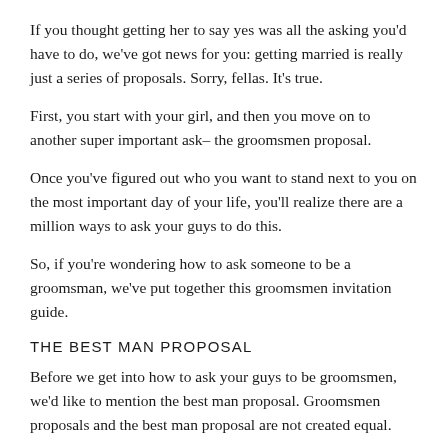If you thought getting her to say yes was all the asking you'd have to do, we've got news for you: getting married is really just a series of proposals. Sorry, fellas. It's true.
First, you start with your girl, and then you move on to another super important ask– the groomsmen proposal.
Once you've figured out who you want to stand next to you on the most important day of your life, you'll realize there are a million ways to ask your guys to do this.
So, if you're wondering how to ask someone to be a groomsman, we've put together this groomsmen invitation guide.
THE BEST MAN PROPOSAL
Before we get into how to ask your guys to be groomsmen, we'd like to mention the best man proposal. Groomsmen proposals and the best man proposal are not created equal.